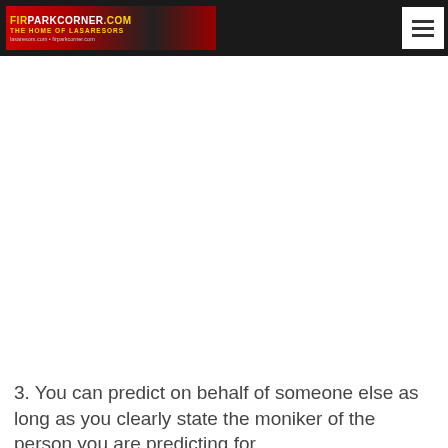FIRPARKCORNER.COM — The Home of Lasaresors (logo/navigation bar)
3. You can predict on behalf of someone else as long as you clearly state the moniker of the person you are predicting for.